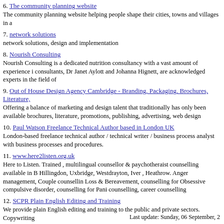6. The community planning website
The community planning website helping people shape their cities, towns and villages in a
7. network solutions
network solutions, design and implementation
8. Nourish Consulting
Nourish Consulting is a dedicated nutrition consultancy with a vast amount of experience i consultants, Dr Janet Aylott and Johanna Hignett, are acknowledged experts in the field of
9. Out of House Design Agency Cambridge - Branding, Packaging, Brochures, Literature,
Offering a balance of marketing and design talent that traditionally has only been available brochures, literature, promotions, publishing, advertising, web design
10. Paul Watson Freelance Technical Author based in London UK
London-based freelance technical author / technical writer / business process analyst with business processes and procedures.
11. www.here2listen.org.uk
Here to Listen. Trained , multilingual counsellor & paychotheraist counselling available in B Hillingdon, Uxbridge, Westdrayton, Iver , Heathrow. Anger management, Couple counsellin Loss & Bereavement, counselling for Obsessive compulsive disorder, counselling for Pani counselling, career counselling
12. SCPR Plain English Editing and Training
We provide plain English editing and training to the public and private sectors. Copywriting
Last update: Sunday, 06 September, 2